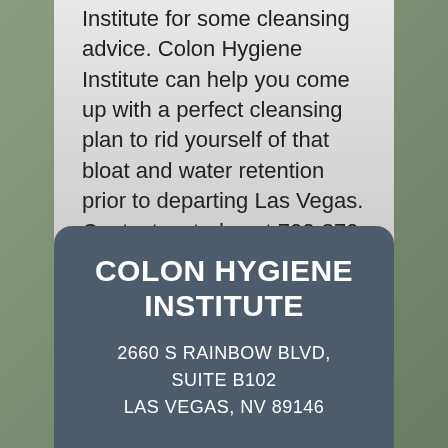Institute for some cleansing advice. Colon Hygiene Institute can help you come up with a perfect cleansing plan to rid yourself of that bloat and water retention prior to departing Las Vegas. Contact us today at 702-870-0704.
← Preparing for colon hydrotherapy
COLON HYGIENE INSTITUTE
2660 S RAINBOW BLVD, SUITE B102 LAS VEGAS, NV 89146